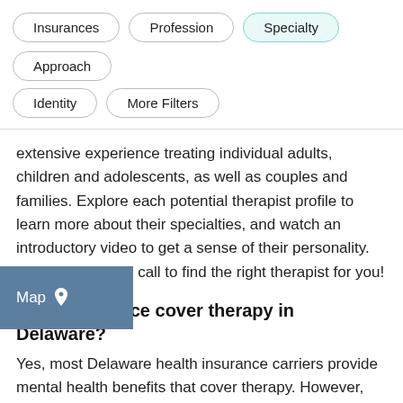Insurances | Profession | Specialty (active) | Approach | Identity | More Filters
extensive experience treating individual adults, children and adolescents, as well as couples and families. Explore each potential therapist profile to learn more about their specialties, and watch an introductory video to get a sense of their personality. Book a free initial call to find the right therapist for you!
Does insurance cover therapy in Delaware?
Yes, most Delaware health insurance carriers provide mental health benefits that cover therapy. However, the exact amount of coverage will vary based on the plan details and whether the selected provider is in-network or out-of-network with your insurance. If the therapist is in-network with your insurance, you'll pay only a copay at each session after meeting your annual deductible. If the